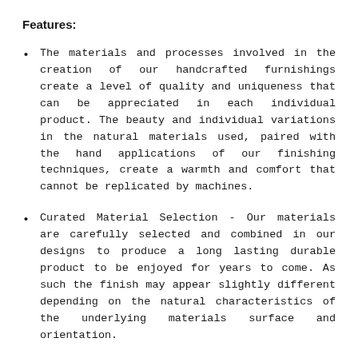Features:
The materials and processes involved in the creation of our handcrafted furnishings create a level of quality and uniqueness that can be appreciated in each individual product. The beauty and individual variations in the natural materials used, paired with the hand applications of our finishing techniques, create a warmth and comfort that cannot be replicated by machines.
Curated Material Selection - Our materials are carefully selected and combined in our designs to produce a long lasting durable product to be enjoyed for years to come. As such the finish may appear slightly different depending on the natural characteristics of the underlying materials surface and orientation.
Embracing Natural Materials - We embrace the